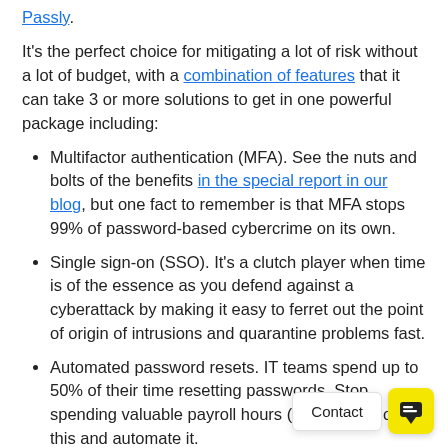Passly.
It's the perfect choice for mitigating a lot of risk without a lot of budget, with a combination of features that it can take 3 or more solutions to get in one powerful package including:
Multifactor authentication (MFA). See the nuts and bolts of the benefits in the special report in our blog, but one fact to remember is that MFA stops 99% of password-based cybercrime on its own.
Single sign-on (SSO). It's a clutch player when time is of the essence as you defend against a cyberattack by making it easy to ferret out the point of origin of intrusions and quarantine problems fast.
Automated password resets. IT teams spend up to 50% of their time resetting passwords. Stop spending valuable payroll hours (and dollars) on this and automate it.